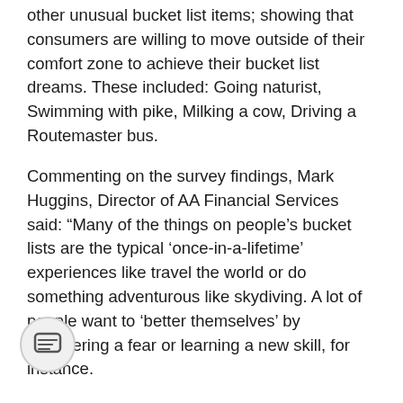other unusual bucket list items; showing that consumers are willing to move outside of their comfort zone to achieve their bucket list dreams. These included: Going naturist, Swimming with pike, Milking a cow, Driving a Routemaster bus.
Commenting on the survey findings, Mark Huggins, Director of AA Financial Services said: “Many of the things on people’s bucket lists are the typical ‘once-in-a-lifetime’ experiences like travel the world or do something adventurous like skydiving. A lot of people want to ‘better themselves’ by conquering a fear or learning a new skill, for instance.
“Many are easily achievable – such as taking up a new hobby. Others, for instance travelling the world, could be quite expensive, while something like meeting an idol simply be down to luck.” If you are heading off on a trip around the globe, it’s important to organise worldwide